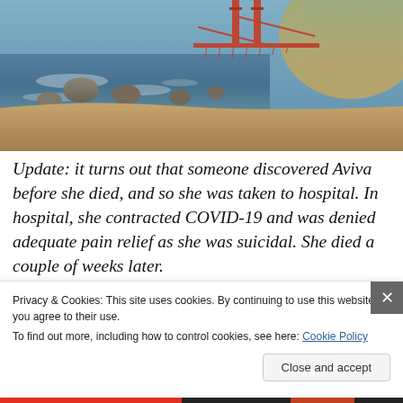[Figure (photo): Photograph of the Golden Gate Bridge viewed from a rocky beach, with waves, rocks, sandy shore, and hills in the background under a partly hazy sky.]
Update: it turns out that someone discovered Aviva before she died, and so she was taken to hospital. In hospital, she contracted COVID-19 and was denied adequate pain relief as she was suicidal. She died a couple of weeks later.
Privacy & Cookies: This site uses cookies. By continuing to use this website, you agree to their use.
To find out more, including how to control cookies, see here: Cookie Policy